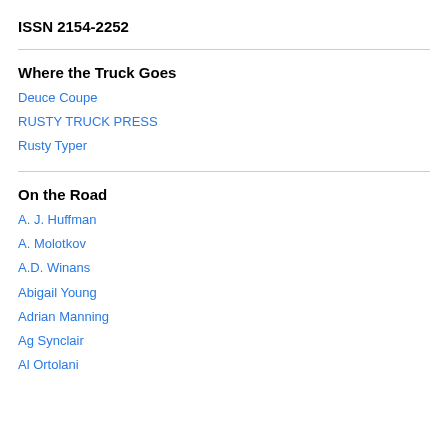ISSN 2154-2252
Where the Truck Goes
Deuce Coupe
RUSTY TRUCK PRESS
Rusty Typer
On the Road
A. J. Huffman
A. Molotkov
A.D. Winans
Abigail Young
Adrian Manning
Ag Synclair
Al Ortolani